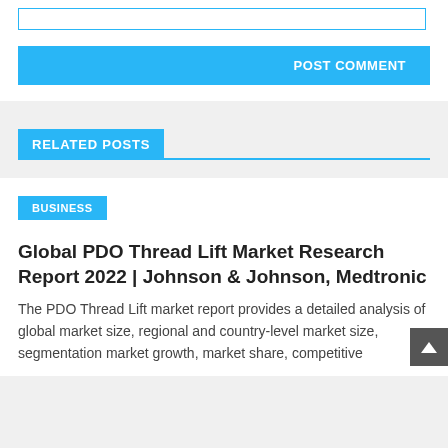[input field]
POST COMMENT
RELATED POSTS
BUSINESS
Global PDO Thread Lift Market Research Report 2022 | Johnson & Johnson, Medtronic
The PDO Thread Lift market report provides a detailed analysis of global market size, regional and country-level market size, segmentation market growth, market share, competitive